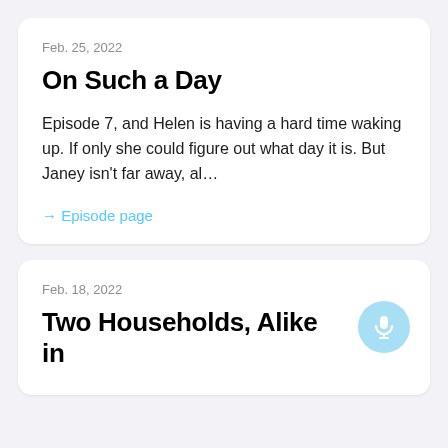Feb. 25, 2022
On Such a Day
Episode 7, and Helen is having a hard time waking up. If only she could figure out what day it is. But Janey isn't far away, al…
→ Episode page
Feb. 18, 2022
Two Households, Alike in